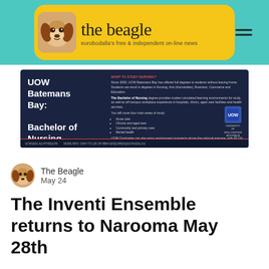[Figure (logo): The Beagle - eurobodalla's free & independent on-line news logo with beagle dog image on yellow rounded banner against teal background]
[Figure (photo): UOW Batemans Bay: Bachelor of Nursing advertisement on dark navy background with red accents and University of Wollongong logo]
The Beagle
May 24
The Inventi Ensemble returns to Narooma May 28th
On Saturday May 28, the Inventi Ensemble returns to Narooma with a